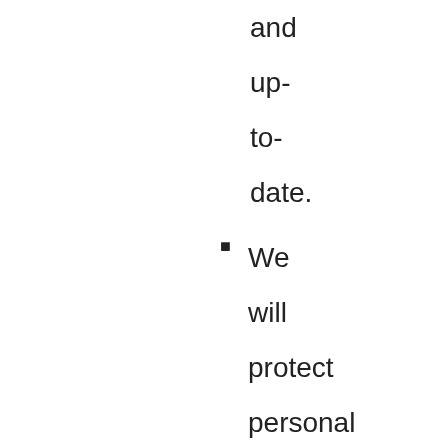and up-to-date.
We will protect personal information by reasonable security safeguards against loss or theft, as well